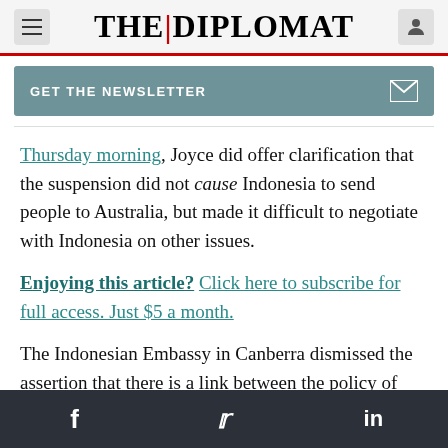THE | DIPLOMAT
GET THE NEWSLETTER
Thursday morning, Joyce did offer clarification that the suspension did not cause Indonesia to send people to Australia, but made it difficult to negotiate with Indonesia on other issues.
Enjoying this article? Click here to subscribe for full access. Just $5 a month.
The Indonesian Embassy in Canberra dismissed the assertion that there is a link between the policy of live export ban and increased number of boats
f  Twitter  in